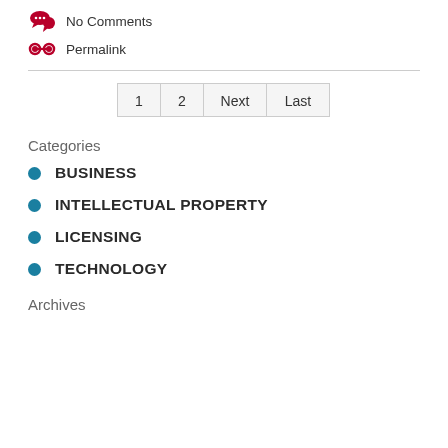No Comments
Permalink
1  2  Next  Last
Categories
BUSINESS
INTELLECTUAL PROPERTY
LICENSING
TECHNOLOGY
Archives